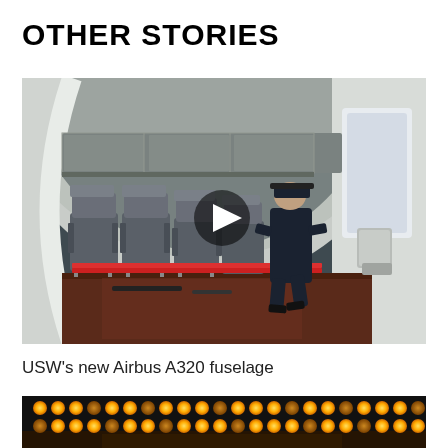OTHER STORIES
[Figure (photo): Interior of an Airbus A320 fuselage being worked on — aircraft cabin seats visible on the left, a technician in dark coveralls working on the floor in the center, large windows on the right side of the hangar. A video play button overlay is visible in the center of the image.]
USW's new Airbus A320 fuselage
[Figure (photo): Cockpit overhead panel of an aircraft showing rows of illuminated amber/orange indicator lights and controls against a dark background.]